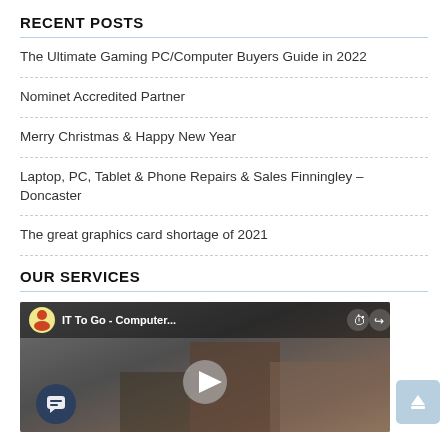RECENT POSTS
The Ultimate Gaming PC/Computer Buyers Guide in 2022
Nominet Accredited Partner
Merry Christmas & Happy New Year
Laptop, PC, Tablet & Phone Repairs & Sales Finningley – Doncaster
The great graphics card shortage of 2021
OUR SERVICES
[Figure (screenshot): Embedded YouTube video thumbnail showing 'IT To Go - Computer...' with play button, chat widget button, and scroll-to-top button]